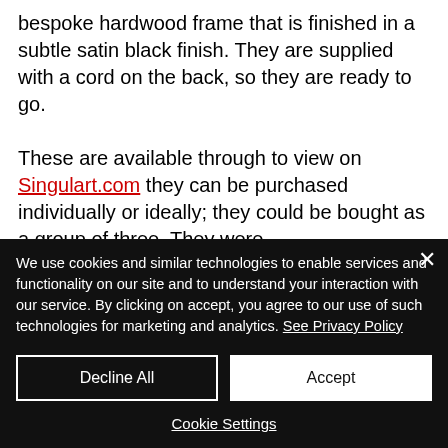bespoke hardwood frame that is finished in a subtle satin black finish. They are supplied with a cord on the back, so they are ready to go.

These are available through to view on Singulart.com they can be purchased individually or ideally; they could be bought as a group of three. They were
We use cookies and similar technologies to enable services and functionality on our site and to understand your interaction with our service. By clicking on accept, you agree to our use of such technologies for marketing and analytics. See Privacy Policy
Decline All
Accept
Cookie Settings